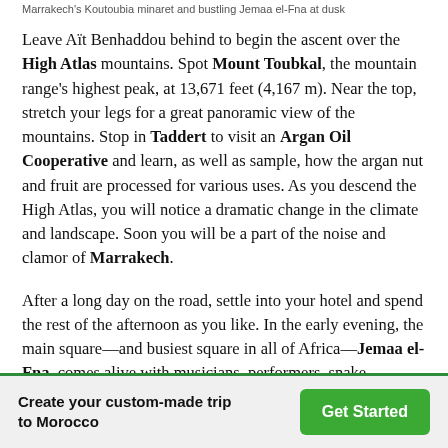Marrakech's Koutoubia minaret and bustling Jemaa el-Fna at dusk
Leave Aït Benhaddou behind to begin the ascent over the High Atlas mountains. Spot Mount Toubkal, the mountain range's highest peak, at 13,671 feet (4,167 m). Near the top, stretch your legs for a great panoramic view of the mountains. Stop in Taddert to visit an Argan Oil Cooperative and learn, as well as sample, how the argan nut and fruit are processed for various uses. As you descend the High Atlas, you will notice a dramatic change in the climate and landscape. Soon you will be a part of the noise and clamor of Marrakech.
After a long day on the road, settle into your hotel and spend the rest of the afternoon as you like. In the early evening, the main square—and busiest square in all of Africa—Jemaa el-Fna, comes alive with musicians, performers, snake charmers,
Create your custom-made trip to Morocco
Get Started